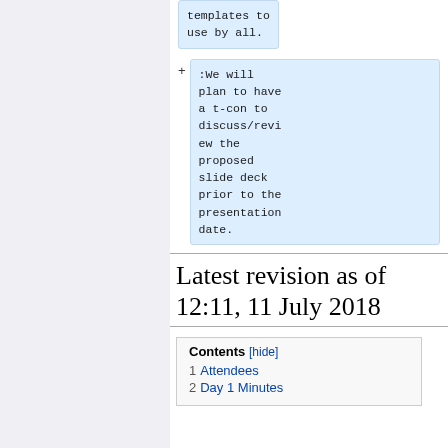templates to use by all.
:We will plan to have a t-con to discuss/review the proposed slide deck prior to the presentation date.
Latest revision as of 12:11, 11 July 2018
| Contents [hide] |
| --- |
| 1 Attendees |
| 2 Day 1 Minutes |